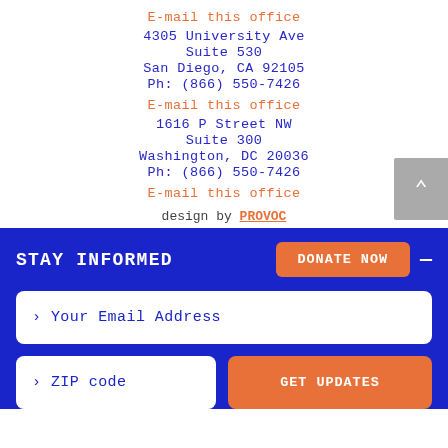E-mail this office
4305 University Ave
Suite 530
San Diego, CA 92105
Ph: (866) 550-7426
E-mail this office
1616 P Street NW
Suite 300
Washington, DC 20036
Ph: (866) 550-7426
E-mail this office
design by PROVOC
STAY INFORMED
DONATE NOW
› Your Email Address
› ZIP code
GET UPDATES